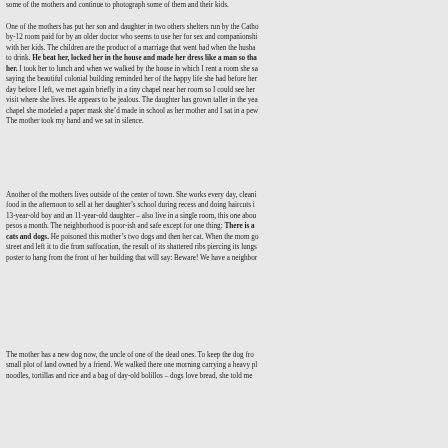some of the mothers and continue to photograph some of them and their kids.
One of the mothers has put her son and daughter in two others shelters run by the Catho by-12 room paid for by an older doctor who seems to use her for sex and companionshi with her kids. The children are the product of a marriage that went bad when the husba to drink. He beat her, locked her in the house and made her dress like a man so tha her. I took her to lunch and when we walked by the house in which I rent a room she sa saying the beautiful colonial building reminded her of the happy life she had before her day before I left, we met again briefly in a tiny chapel near her room so I could see her visit where she lives. He appears to be jealous. The daughter has grown taller in the yea chapel she modeled a paper mask she’d made in school as her mother and I sat in a pew The mother took my hand and we sat in silence.
Another of the mothers lives outside of the center of town. She works every day, cleani food in the afternoon to sell at her daughter’s school during recess and doing haircuts i 13-year-old boy and an 11-year-old daughter – also live in a single room, this one abou pesos a month. The neighborhood is poor-ish and safe except for one thing: There is a cats and dogs. He poisoned this mother’s two dogs and then her cat. When the mom go street and left it to die from suffocation, the result of its shattered ribs piercing its lungs poster to hang from the front of her building that will say: Beware! We have a neighbor
The mother has a new dog now, the uncle of one of the dead ones. To keep the dog fro small plot of land owned by a friend. We walked there one morning carrying a heavy pl noodles, tortillas and rice and a bag of day-old bolillos – dogs love bread, she told me